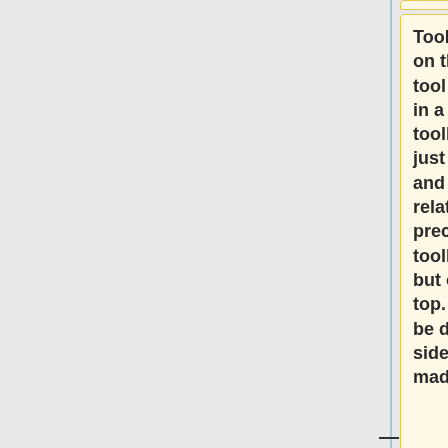Tools for photoshop are on the left in a toolbar, tool options are on top in a toolbar. The top toolbar is positioned just below the menubar and that makes it relatively hard to hit precisely. The top toolbar can be torn-off, but only be locked on top. The side bars can be dragged to either side and tools can be made 2